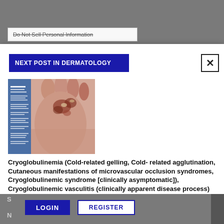Do Not Sell Personal Information
NEXT POST IN DERMATOLOGY
[Figure (photo): Clinical photo of a hand showing cryoglobulinemic vasculitis skin lesions with discoloration and crusting on fingers]
Cryoglobulinemia (Cold-related gelling, Cold- related agglutination, Cutaneous manifestations of microvascular occlusion syndromes, Cryoglobulinemic syndrome [clinically asymptomatic]), Cryoglobulinemic vasculitis (clinically apparent disease process)
LOGIN
REGISTER